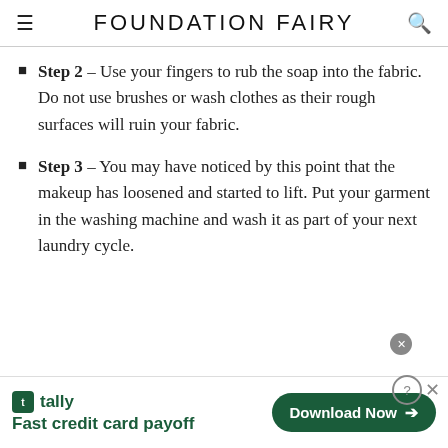FOUNDATION FAIRY
Step 2 – Use your fingers to rub the soap into the fabric. Do not use brushes or wash clothes as their rough surfaces will ruin your fabric.
Step 3 – You may have noticed by this point that the makeup has loosened and started to lift. Put your garment in the washing machine and wash it as part of your next laundry cycle.
[Figure (screenshot): Tally advertisement banner: 'Fast credit card payoff' with Download Now button]